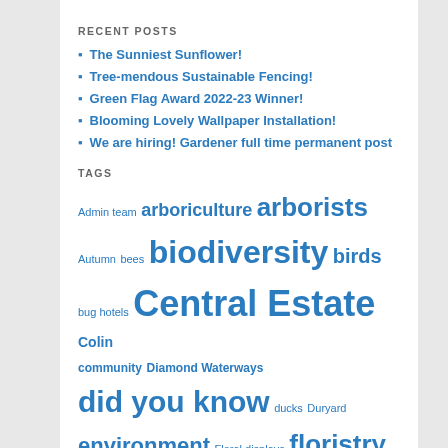RECENT POSTS
The Sunniest Sunflower!
Tree-mendous Sustainable Fencing!
Green Flag Award 2022-23 Winner!
Blooming Lovely Wallpaper Installation!
We are hiring! Gardener full time permanent post
TAGS
Admin team arboriculture arborists Autumn bees biodiversity birds bug hotels Central Estate Colin community Diamond Waterways did you know ducks Duryard environment Floral displays floristry fl...